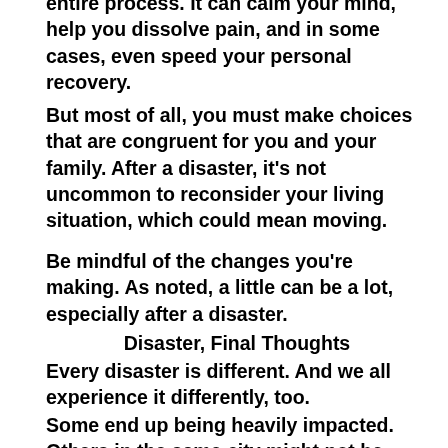entire process. It can calm your mind, help you dissolve pain, and in some cases, even speed your personal recovery.
But most of all, you must make choices that are congruent for you and your family. After a disaster, it's not uncommon to reconsider your living situation, which could mean moving.
Be mindful of the changes you're making. As noted, a little can be a lot, especially after a disaster.
Disaster, Final Thoughts
Every disaster is different. And we all experience it differently, too.
Some end up being heavily impacted. Others in the same city might not be